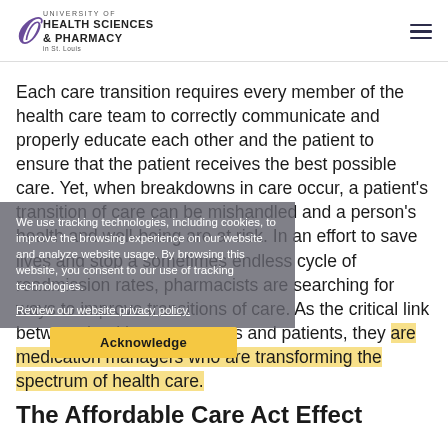University of Health Sciences & Pharmacy in St. Louis
Each care transition requires every member of the health care team to correctly communicate and properly educate each other and the patient to ensure that the patient receives the best possible care. Yet, when breakdowns in care occur, a patient's transition of care can be mishandled and a person's health and well-being are at risk. In an effort to save lives and stop a sometimes endless cycle of readmission rates, pharmacists are searching for ways to improve transitions of care. As the critical link between health care systems and patients, they are medication managers who are transforming the spectrum of health care.
We use tracking technologies, including cookies, to improve the browsing experience on our website and analyze website usage. By browsing this website, you consent to our use of tracking technologies.
Review our website privacy policy.
Acknowledge
The Affordable Care Act Effect